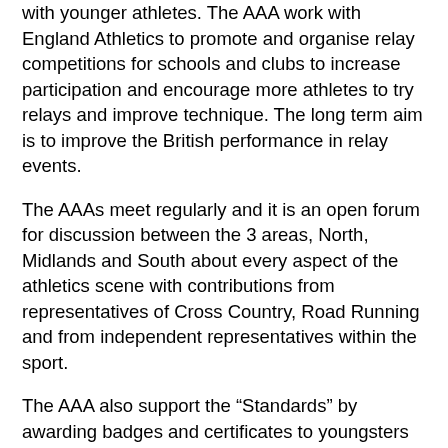with younger athletes. The AAA work with England Athletics to promote and organise relay competitions for schools and clubs to increase participation and encourage more athletes to try relays and improve technique. The long term aim is to improve the British performance in relay events.
The AAAs meet regularly and it is an open forum for discussion between the 3 areas, North, Midlands and South about every aspect of the athletics scene with contributions from representatives of Cross Country, Road Running and from independent representatives within the sport.
The AAA also support the “Standards” by awarding badges and certificates to youngsters who’ve achieved standards in their discipline. We support the work of AAA Charity for the Young, which has its own board of trustees, giving small grants to young athletes helping them in the early stages of their careers.
Tom Pink Relays
In 2007 the AAA received a generous bequest from the late